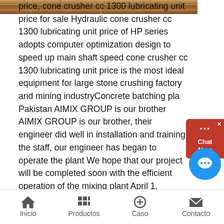[Figure (photo): Partial view of industrial machinery/crusher equipment, visible as a cropped strip at the top of the page]
price, cone crusher cc 1300 lubricating unit price for sale Hydraulic cone crusher cc 1300 lubricating unit price of HP series adopts computer optimization design to speed up main shaft speed cone crusher cc 1300 lubricating unit price is the most ideal equipment for large stone crushing factory and mining industryConcrete batching plant Pakistan AIMIX GROUP is our brother AIMIX GROUP is our brother, their engineer did well in installation and training the staff, our engineer has began to operate the plant We hope that our project will be completed soon with the efficient operation of the mixing plant April 1, 2020AIMIX Group® Official Website Click to View MorePORTABLE ROCK CRUSHERS FOR SALE, INCLUDING MICRO CRUSHERS! At Senya Tech you'll find the best portable rock crushers for sale in North America, as well as our industry pioneering MICRO Crusher category Senya Tech is a global distributor and manufacturer of portable concrete crushers and replacement partsPortable Rock Crushers for Sale | Rock
[Figure (other): Red chat widget overlay in top right corner with chat bubble icon and 'Chat Now' text]
[Figure (other): Blue circular chat button in lower right area]
Inicio   Productos   Caso   Contacto